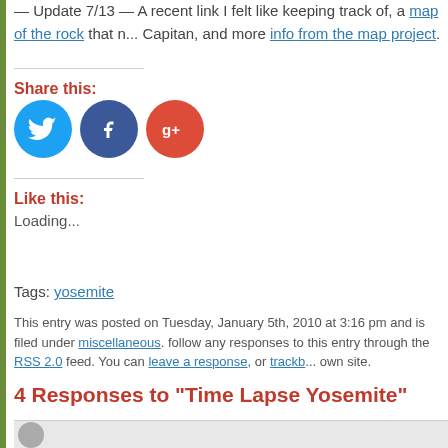— Update 7/13 — A recent link I felt like keeping track of, a map of the rock that ... Capitan, and more info from the map project.
Share this:
[Figure (other): Three social media sharing buttons: Twitter (blue circle), Facebook (dark blue circle), Google+ (red circle)]
Like this:
Loading...
Tags: yosemite
This entry was posted on Tuesday, January 5th, 2010 at 3:16 pm and is filed under miscellaneous. follow any responses to this entry through the RSS 2.0 feed. You can leave a response, or trackb... own site.
4 Responses to “Time Lapse Yosemite”